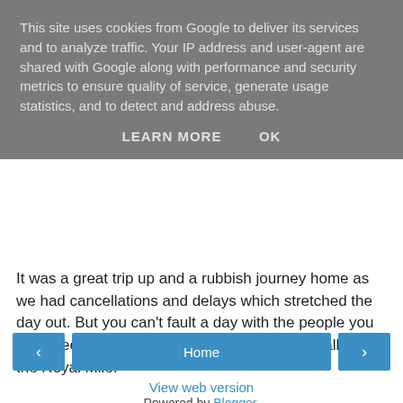This site uses cookies from Google to deliver its services and to analyze traffic. Your IP address and user-agent are shared with Google along with performance and security metrics to ensure quality of service, generate usage statistics, and to detect and address abuse.
LEARN MORE   OK
It was a great trip up and a rubbish journey home as we had cancellations and delays which stretched the day out. But you can't fault a day with the people you love, deep fried Mars bars, City Cafe, Leith Walk and the Royal Mile.
Marpleleaf at 10:18 am   No comments:
‹   Home   ›
View web version
Powered by Blogger.